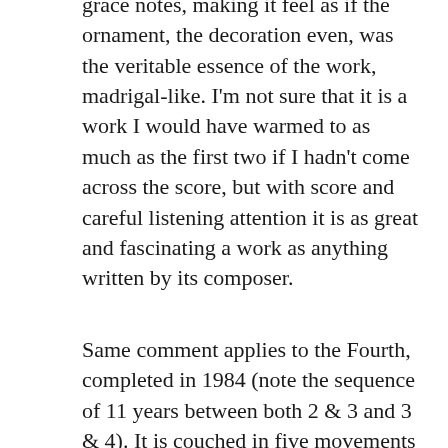grace notes, making it feel as if the ornament, the decoration even, was the veritable essence of the work, madrigal-like. I'm not sure that it is a work I would have warmed to as much as the first two if I hadn't come across the score, but with score and careful listening attention it is as great and fascinating a work as anything written by its composer.
Same comment applies to the Fourth, completed in 1984 (note the sequence of 11 years between both 2 & 3 and 3 & 4). It is couched in five movements – an architecture more readily found in string quartets and symphonies than in piano sonatas. There are moments of great melodic appeal, moments of